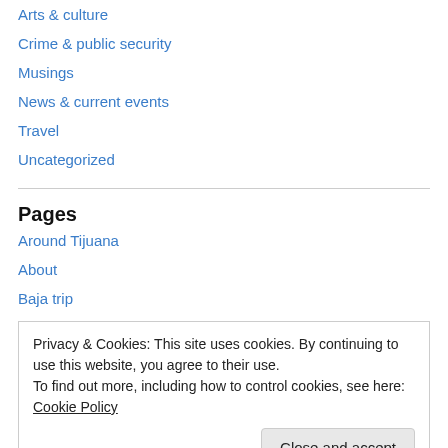Arts & culture
Crime & public security
Musings
News & current events
Travel
Uncategorized
Pages
Around Tijuana
About
Baja trip
Privacy & Cookies: This site uses cookies. By continuing to use this website, you agree to their use.
To find out more, including how to control cookies, see here: Cookie Policy
Close and accept
recomit... 1 month ago